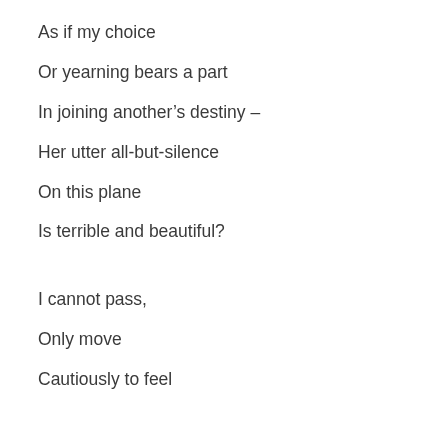As if my choice
Or yearning bears a part
In joining another’s destiny –
Her utter all-but-silence
On this plane
Is terrible and beautiful?
I cannot pass,
Only move
Cautiously to feel